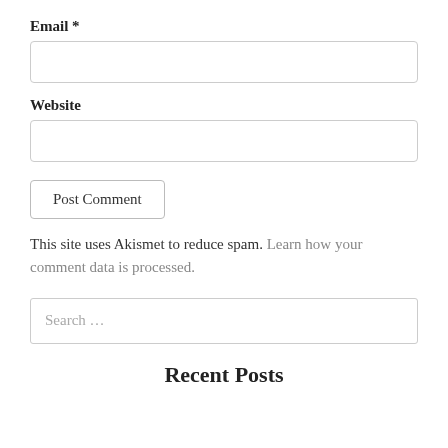Email *
[Figure (other): Empty text input field for Email]
Website
[Figure (other): Empty text input field for Website]
Post Comment (button)
This site uses Akismet to reduce spam. Learn how your comment data is processed.
[Figure (other): Search input field with placeholder text 'Search ...']
Recent Posts